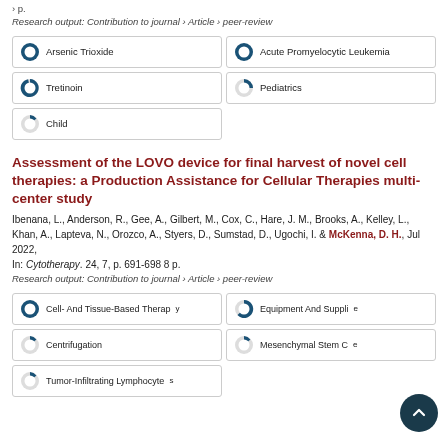› p.
Research output: Contribution to journal › Article › peer-review
[Figure (infographic): Keyword badges with donut percentage indicators: Arsenic Trioxide 100%, Acute Promyelocytic Leukemia 100%, Tretinoin ~80%, Pediatrics ~50%, Child ~25%]
Assessment of the LOVO device for final harvest of novel cell therapies: a Production Assistance for Cellular Therapies multi-center study
Ibenana, L., Anderson, R., Gee, A., Gilbert, M., Cox, C., Hare, J. M., Brooks, A., Kelley, L., Khan, A., Lapteva, N., Orozco, A., Styers, D., Sumstad, D., Ugochi, I. & McKenna, D. H., Jul 2022, In: Cytotherapy. 24, 7, p. 691-698 8 p.
Research output: Contribution to journal › Article › peer-review
[Figure (infographic): Keyword badges with donut percentage indicators: Cell- And Tissue-Based Therapy 100%, Equipment And Supplies ~65%, Centrifugation ~25%, Mesenchymal Stem Cells ~25%, Tumor-Infiltrating Lymphocytes ~25%]